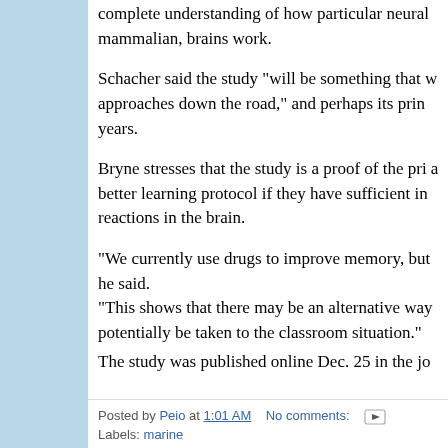complete understanding of how particular neural mammalian, brains work.
Schacher said the study "will be something that we approaches down the road," and perhaps its prin years.
Bryne stresses that the study is a proof of the pri a better learning protocol if they have sufficient in reactions in the brain.
"We currently use drugs to improve memory, but he said.
"This shows that there may be an alternative way potentially be taken to the classroom situation."
The study was published online Dec. 25 in the jo
Posted by Peio at 1:01 AM   No comments:   Labels: marine